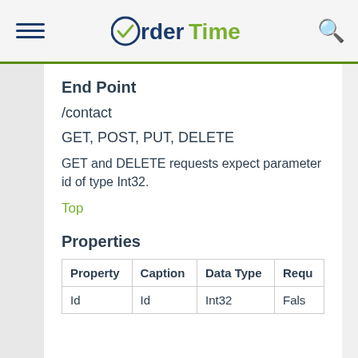OrderTime
End Point
/contact
GET, POST, PUT, DELETE
GET and DELETE requests expect parameter id of type Int32.
Top
Properties
| Property | Caption | Data Type | Requ |
| --- | --- | --- | --- |
| Id | Id | Int32 | False |